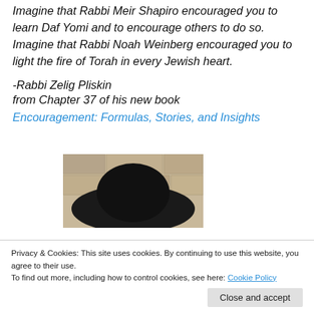Imagine that Rabbi Meir Shapiro encouraged you to learn Daf Yomi and to encourage others to do so. Imagine that Rabbi Noah Weinberg encouraged you to light the fire of Torah in every Jewish heart.
-Rabbi Zelig Pliskin
from Chapter 37 of his new book
Encouragement: Formulas, Stories, and Insights
[Figure (photo): Partial photo of a rabbi wearing a large black hat, stone wall background, partially obscured by cookie consent banner]
Privacy & Cookies: This site uses cookies. By continuing to use this website, you agree to their use.
To find out more, including how to control cookies, see here: Cookie Policy